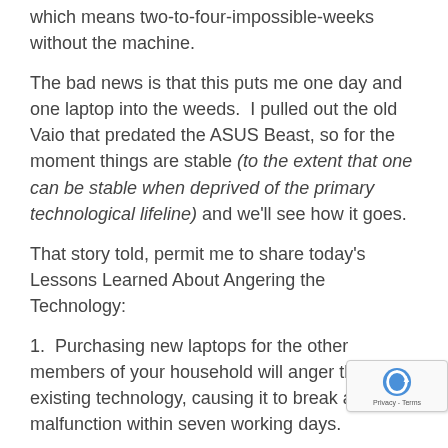which means two-to-four-impossible-weeks without the machine.
The bad news is that this puts me one day and one laptop into the weeds. I pulled out the old Vaio that predated the ASUS Beast, so for the moment things are stable (to the extent that one can be stable when deprived of the primary technological lifeline) and we'll see how it goes.
That story told, permit me to share today's Lessons Learned About Angering the Technology:
1. Purchasing new laptops for the other members of your household will anger the existing technology, causing it to break and/or malfunction within seven working days.
2. If you back up your data regularly, the laptop's aneurism is far less likely to be contagious.
3. The success of any my diet plan is directly propo to the happiness level of my technology. (In other words: